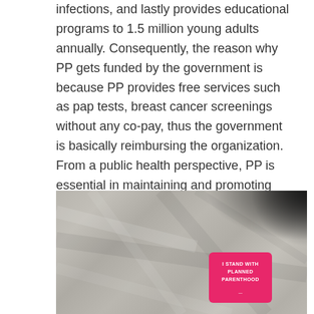infections, and lastly provides educational programs to 1.5 million young adults annually. Consequently, the reason why PP gets funded by the government is because PP provides free services such as pap tests, breast cancer screenings without any co-pay, thus the government is basically reimbursing the organization. From a public health perspective, PP is essential in maintaining and promoting population health due to preventative screening measures, controlling sexually transmitted infections (STI), and educating the community on positive and healthy behavior change.
[Figure (photo): A close-up photo of a gray fabric/jacket with a pink square sticker that reads 'I STAND WITH PLANNED PARENTHOOD']